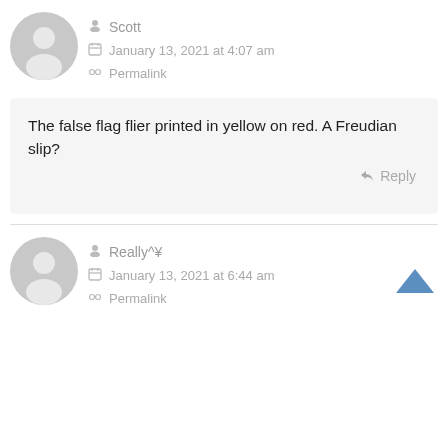[Figure (illustration): Gray default user avatar circle with person silhouette, top comment]
Scott
January 13, 2021 at 4:07 am
Permalink
The false flag flier printed in yellow on red. A Freudian slip?
Reply
[Figure (illustration): Gray default user avatar circle with person silhouette, bottom comment]
Really^¥
January 13, 2021 at 6:44 am
Permalink